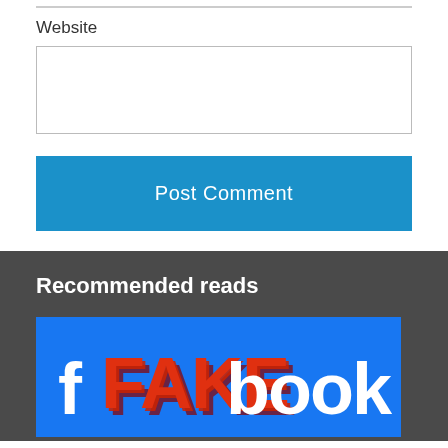Website
[Figure (screenshot): Empty website input text box with border]
[Figure (screenshot): Blue 'Post Comment' button]
Recommended reads
[Figure (illustration): Blue Facebook-style banner with 'FAKEbook' text where FAKE is styled in red/3D block letters and 'book' is in white bold font]